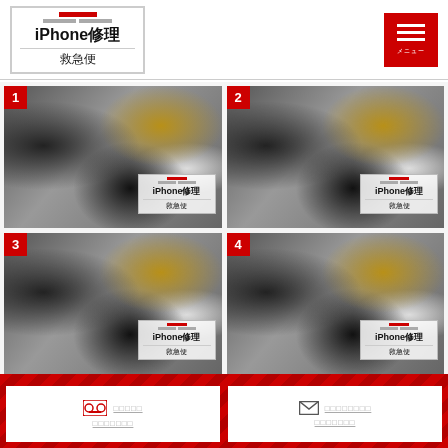[Figure (logo): iPhone修理救急便 logo with red and gray bars, bordered box]
[Figure (other): Hamburger menu button in red]
[Figure (photo): iPhone parts disassembled image with number badge 1 and watermark logo]
[Figure (photo): iPhone parts disassembled image with number badge 2 and watermark logo]
[Figure (photo): iPhone parts disassembled image with number badge 3 and watermark logo]
[Figure (photo): iPhone parts disassembled image with number badge 4 and watermark logo]
[Figure (infographic): Contact card with cassette/phone icon and underlined placeholder text]
[Figure (infographic): Contact card with mail icon and underlined placeholder text]